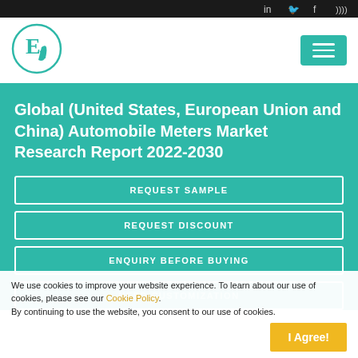Social icons: LinkedIn, Twitter, Facebook, RSS
[Figure (logo): E2 research logo in a circle with teal color]
Global (United States, European Union and China) Automobile Meters Market Research Report 2022-2030
REQUEST SAMPLE
REQUEST DISCOUNT
ENQUIRY BEFORE BUYING
NEED CUSTOMIZATION
We use cookies to improve your website experience. To learn about our use of cookies, please see our Cookie Policy. By continuing to use the website, you consent to our use of cookies.
I Agree!